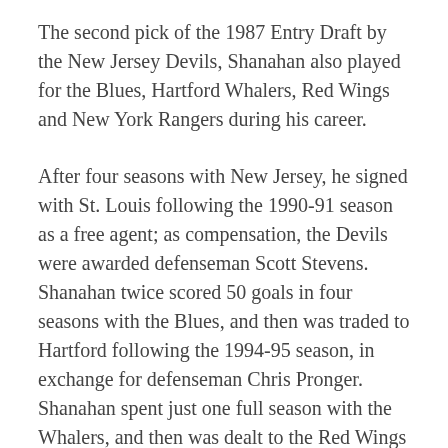The second pick of the 1987 Entry Draft by the New Jersey Devils, Shanahan also played for the Blues, Hartford Whalers, Red Wings and New York Rangers during his career.
After four seasons with New Jersey, he signed with St. Louis following the 1990-91 season as a free agent; as compensation, the Devils were awarded defenseman Scott Stevens. Shanahan twice scored 50 goals in four seasons with the Blues, and then was traded to Hartford following the 1994-95 season, in exchange for defenseman Chris Pronger. Shanahan spent just one full season with the Whalers, and then was dealt to the Red Wings two games into the 1996-97 season.
He signed with the Rangers prior to the start of the 2006-07 season, and spent two seasons on Broadway.